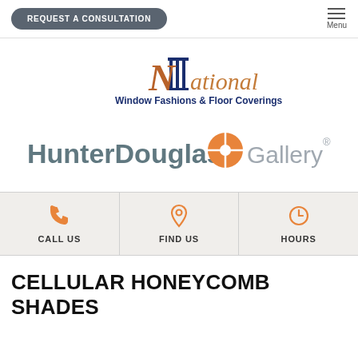REQUEST A CONSULTATION | Menu
[Figure (logo): National Window Fashions & Floor Coverings logo with decorative N and pillars]
[Figure (logo): HunterDouglas Gallery logo with orange circular icon]
CALL US
FIND US
HOURS
CELLULAR HONEYCOMB SHADES